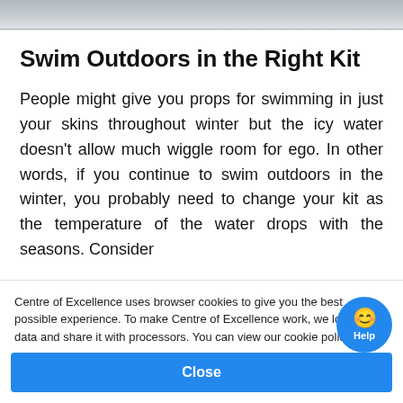[Figure (photo): Partial image strip at top of page, appears to be an outdoor/water scene]
Swim Outdoors in the Right Kit
People might give you props for swimming in just your skins throughout winter but the icy water doesn't allow much wiggle room for ego. In other words, if you continue to swim outdoors in the winter, you probably need to change your kit as the temperature of the water drops with the seasons. Consider
Centre of Excellence uses browser cookies to give you the best possible experience. To make Centre of Excellence work, we log user data and share it with processors. You can view our cookie policy here.
Close